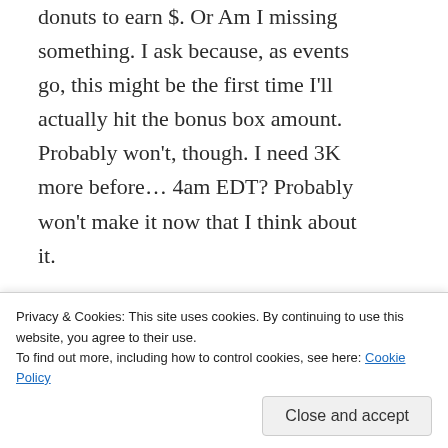donuts to earn $. Or Am I missing something. I ask because, as events go, this might be the first time I'll actually hit the bonus box amount. Probably won't, though. I need 3K more before… 4am EDT? Probably won't make it now that I think about it.
★ Like
Bunny | March 9
Privacy & Cookies: This site uses cookies. By continuing to use this website, you agree to their use. To find out more, including how to control cookies, see here: Cookie Policy
Close and accept
That isn't worth it at